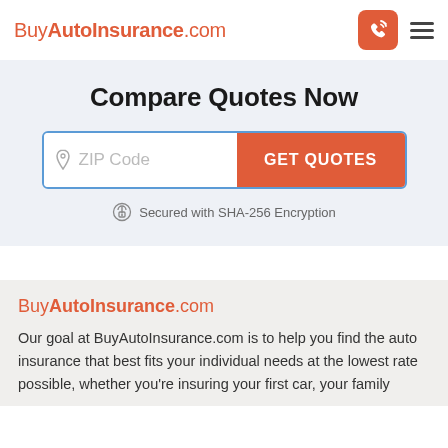BuyAutoInsurance.com
Compare Quotes Now
[Figure (screenshot): ZIP Code input field with placeholder text and a GET QUOTES orange button]
Secured with SHA-256 Encryption
BuyAutoInsurance.com
Our goal at BuyAutoInsurance.com is to help you find the auto insurance that best fits your individual needs at the lowest rate possible, whether you're insuring your first car, your family